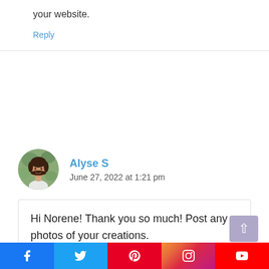your website.
Reply
Alyse S
June 27, 2022 at 1:21 pm
Hi Norene! Thank you so much! Post any photos of your creations.
Reply